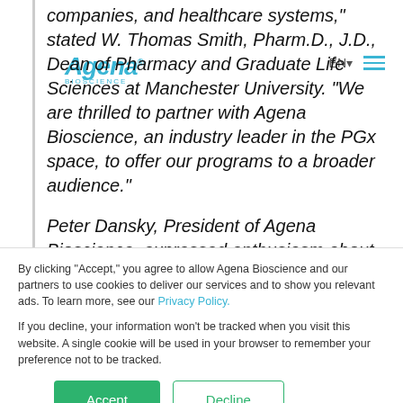[Figure (logo): Agena Bioscience logo with teal italic text and BIOSCIENCE subtitle]
companies, and healthcare systems," stated W. Thomas Smith, Pharm.D., J.D., Dean of Pharmacy and Graduate Life Sciences at Manchester University. "We are thrilled to partner with Agena Bioscience, an industry leader in the PGx space, to offer our programs to a broader audience."
Peter Dansky, President of Agena Bioscience, expressed enthusiasm about this development,
By clicking “Accept,” you agree to allow Agena Bioscience and our partners to use cookies to deliver our services and to show you relevant ads. To learn more, see our Privacy Policy.
If you decline, your information won’t be tracked when you visit this website. A single cookie will be used in your browser to remember your preference not to be tracked.